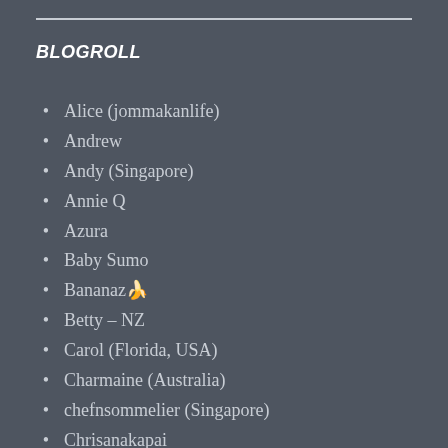BLOGROLL
Alice (jommakanlife)
Andrew
Andy (Singapore)
Annie Q
Azura
Baby Sumo
Bananaz🍌
Betty – NZ
Carol (Florida, USA)
Charmaine (Australia)
chefnsommelier (Singapore)
Chrisanakapai
ChrisAu